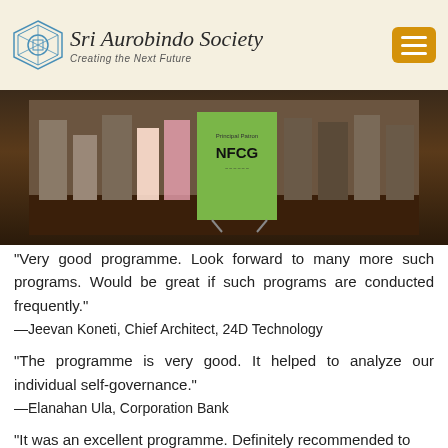Sri Aurobindo Society — Creating the Next Future
[Figure (photo): Group photo of several people standing in front of a green NFCG banner/backdrop at an event. People are shown from waist down in some cases. The banner reads 'Principal Patron' and 'NFCG'.]
“Very good programme. Look forward to many more such programs. Would be great if such programs are conducted frequently.”
—Jeevan Koneti, Chief Architect, 24D Technology
“The programme is very good. It helped to analyze our individual self-governance.”
—Elanahan Ula, Corporation Bank
“It was an excellent programme. Definitely recommended to